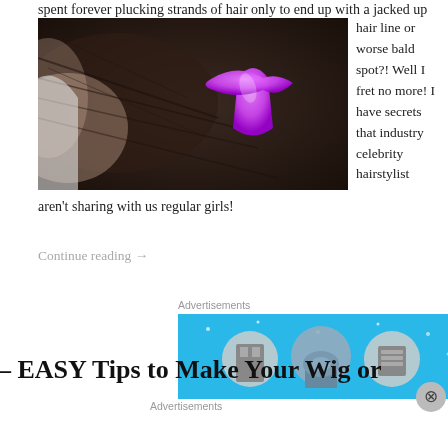spent forever plucking strands of hair only to end up with a jacked up
[Figure (photo): Close-up photo of a person's dark hair held with a bright purple/pink hair clip]
hair line or worse bald spot?! Well I fret no more! I have secrets that industry celebrity hairstylist aren't sharing with us regular girls!
Continue reading →
Advertisements
[Figure (screenshot): Advertisement banner with blue background showing illustrated buildings and icons]
– EASY Tips to Make Your Wig or
Advertisements